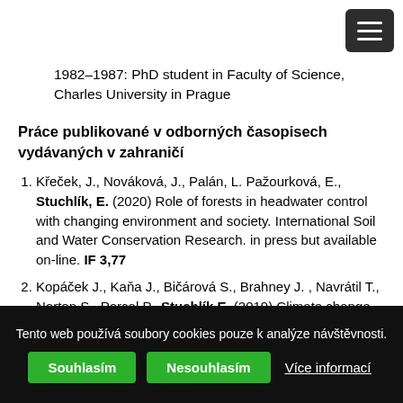1982–1987: PhD student in Faculty of Science, Charles University in Prague
Práce publikované v odborných časopisech vydávaných v zahraničí
Křeček, J., Nováková, J., Palán, L. Pažourková, E., Stuchlík, E. (2020) Role of forests in headwater control with changing environment and society. International Soil and Water Conservation Research. in press but available on-line. IF 3,77
Kopáček J., Kaňa J., Bičárová S., Brahney J. , Navrátil T., Norton S., Porcal P., Stuchlík E. (2019) Climate change accelerates recovery of the Tatra Mountain lakes from acidification and increases their nutrient and chlorophyll a
Tento web používá soubory cookies pouze k analýze návštěvnosti.
Souhlasím  Nesouhlasím  Více informací